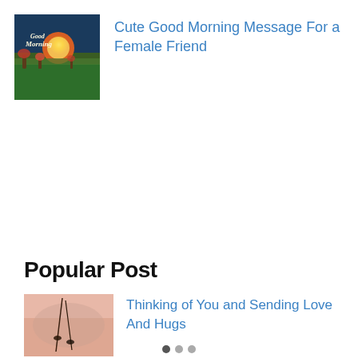[Figure (photo): Thumbnail image of a sunrise over a field with flowers and text 'Good Morning']
Cute Good Morning Message For a Female Friend
Popular Post
[Figure (photo): Close-up thumbnail of a hand holding a feather or thin stem against a soft background]
Thinking of You and Sending Love And Hugs